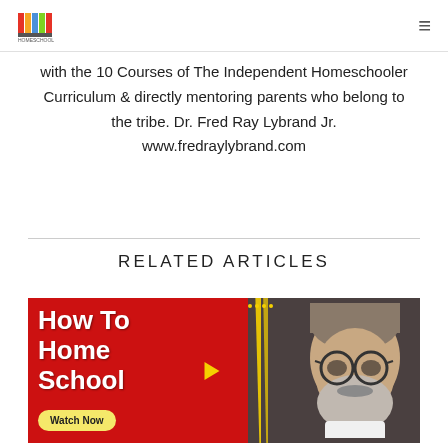Homeschool logo and navigation menu
with the 10 Courses of The Independent Homeschooler Curriculum & directly mentoring parents who belong to the tribe. Dr. Fred Ray Lybrand Jr. www.fredraylybrand.com
RELATED ARTICLES
[Figure (screenshot): Thumbnail image for a homeschooling video titled 'How To Home School' with a Watch Now button, showing a man with glasses and gray beard on the right side, and a red graphic design on the left with yellow accent lines.]